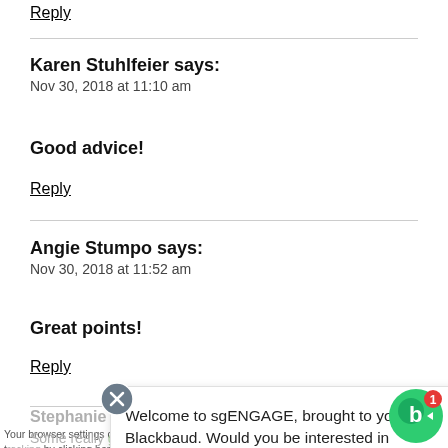Reply
Karen Stuhlfeier says:
Nov 30, 2018 at 11:10 am
Good advice!
Reply
Angie Stumpo says:
Nov 30, 2018 at 11:52 am
Great points!
Reply
Stephanie B...
Your browser settings do... AdRoll to use cross-site t... by clicking here. This me...
[Figure (screenshot): Chat popup: Welcome to sgENGAGE, brought to you by Blackbaud. Would you be interested in chatting with someone o... with a close (X) button and Blackbaud logo button]
Some really good points in here!